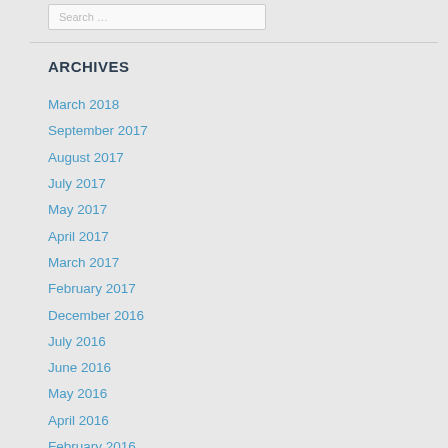ARCHIVES
March 2018
September 2017
August 2017
July 2017
May 2017
April 2017
March 2017
February 2017
December 2016
July 2016
June 2016
May 2016
April 2016
February 2016
January 2016
December 2015